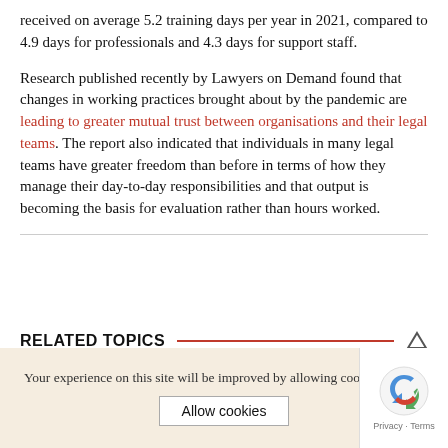received on average 5.2 training days per year in 2021, compared to 4.9 days for professionals and 4.3 days for support staff.
Research published recently by Lawyers on Demand found that changes in working practices brought about by the pandemic are leading to greater mutual trust between organisations and their legal teams. The report also indicated that individuals in many legal teams have greater freedom than before in terms of how they manage their day-to-day responsibilities and that output is becoming the basis for evaluation rather than hours worked.
RELATED TOPICS
Your experience on this site will be improved by allowing coo